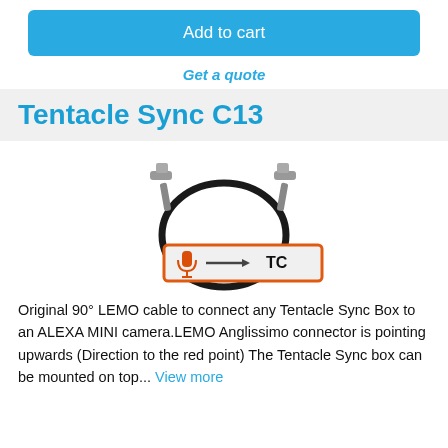Add to cart
Get a quote
Tentacle Sync C13
[Figure (photo): Product photo of a Tentacle Sync C13 cable — a 90-degree LEMO cable with two angled connectors, black coiled cable, and an orange/white badge showing a microphone icon with arrow pointing to TC label.]
Original 90° LEMO cable to connect any Tentacle Sync Box to an ALEXA MINI camera.LEMO Anglissimo connector is pointing upwards (Direction to the red point) The Tentacle Sync box can be mounted on top... View more